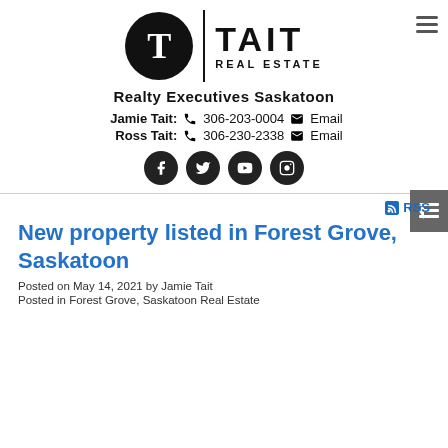[Figure (logo): Tait Real Estate logo with black circle T icon, vertical divider, and TAIT REAL ESTATE text]
Realty Executives Saskatoon
Jamie Tait: 306-203-0004  Email
Ross Tait: 306-230-2338  Email
[Figure (other): Social media icon buttons: Facebook, Twitter, YouTube, Instagram]
RSS
New property listed in Forest Grove, Saskatoon
Posted on May 14, 2021 by Jamie Tait
Posted in Forest Grove, Saskatoon Real Estate